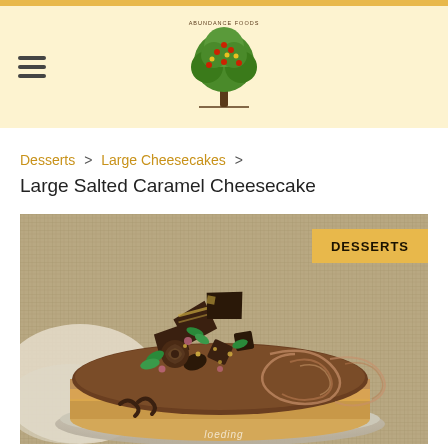Abundance Foods — navigation header with logo
Desserts > Large Cheesecakes >
Large Salted Caramel Cheesecake
[Figure (photo): Large decorated salted caramel cheesecake topped with chocolate decorations, mint leaves, dark chocolate shards, and dried rose petals on a burlap background, with a 'DESSERTS' badge overlay.]